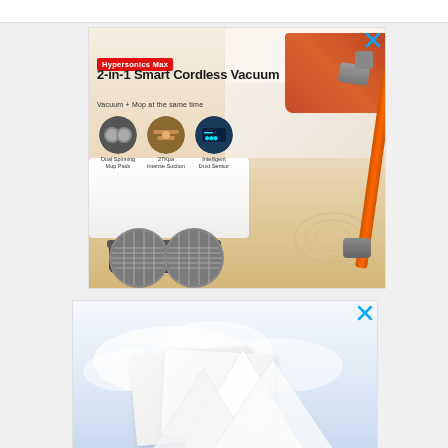[Figure (photo): Advertisement for Hypersonics Max 2-in-1 Smart Cordless Vacuum. Red badge reads 'Hypersonics Max'. Large text: '2-in-1 Smart Cordless Vacuum'. Subtitle: 'Vacuum + Mop at the same time'. Three circular feature icons showing: Dual Spinning Mop Pads, 27Kpa Intense Suction, Intelligent Dust Sensor. Image shows a cordless vacuum with orange stick being used in a bedroom, with dual mop pads in the foreground. Close (X) button in top-right corner.]
[Figure (photo): Second advertisement block (partially visible), showing a light blue/white cloud and paper background. Close (X) button in top-right corner.]